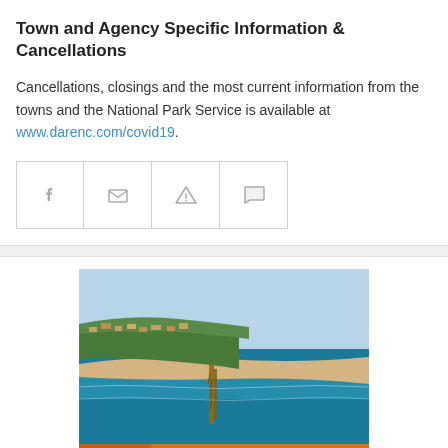Town and Agency Specific Information & Cancellations
Cancellations, closings and the most current information from the towns and the National Park Service is available at www.darenc.com/covid19.
[Figure (other): Row of four social/action icon buttons: Facebook, email, alert/warning triangle, and comment/chat bubble icons, each in a bordered square button.]
[Figure (photo): Aerial photograph of a coastal beach community with a fishing pier extending into the ocean, sandy beach, and green wooded residential area visible.]
[Figure (infographic): Orange banner advertisement with a woman's headshot photo on the left and text reading 'SERVING HATTERAS ISLAND' on the right in white bold uppercase letters.]